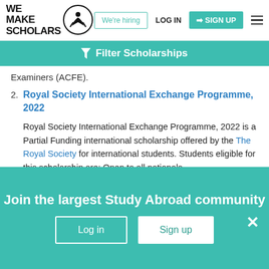[Figure (logo): We Make Scholars logo with silhouette figure in circle]
We're hiring   LOG IN   SIGN UP
Filter Scholarships
Examiners (ACFE).
2. Royal Society International Exchange Programme, 2022
Royal Society International Exchange Programme, 2022 is a Partial Funding international scholarship offered by the The Royal Society for international students. Students eligible for this scholarship are: Open to all nationals
Join the largest Study Abroad community
Log in
Sign up